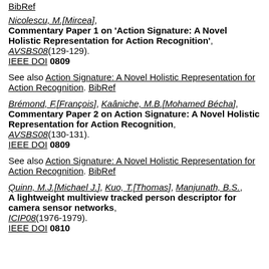BibRef
Nicolescu, M.[Mircea], Commentary Paper 1 on 'Action Signature: A Novel Holistic Representation for Action Recognition', AVSBS08(129-129). IEEE DOI 0809
See also Action Signature: A Novel Holistic Representation for Action Recognition. BibRef
Brémond, F.[François], Kaâniche, M.B.[Mohamed Bécha], Commentary Paper 2 on Action Signature: A Novel Holistic Representation for Action Recognition, AVSBS08(130-131). IEEE DOI 0809
See also Action Signature: A Novel Holistic Representation for Action Recognition. BibRef
Quinn, M.J.[Michael J.], Kuo, T.[Thomas], Manjunath, B.S., A lightweight multiview tracked person descriptor for camera sensor networks, ICIP08(1976-1979). IEEE DOI 0810